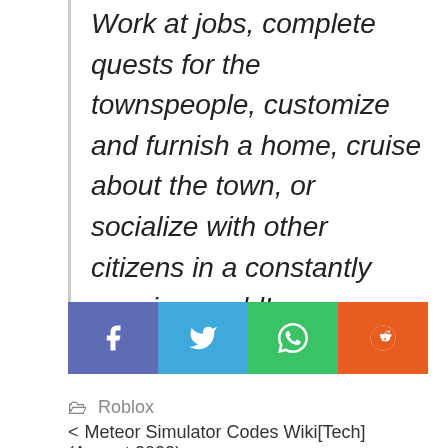Work at jobs, complete quests for the townspeople, customize and furnish a home, cruise about the town, or socialize with other citizens in a constantly growing world!
[Figure (infographic): Social share buttons: Facebook (blue-purple), Twitter (blue), WhatsApp (green), Reddit (orange)]
Roblox
< Meteor Simulator Codes Wiki[Tech] (August 2022)